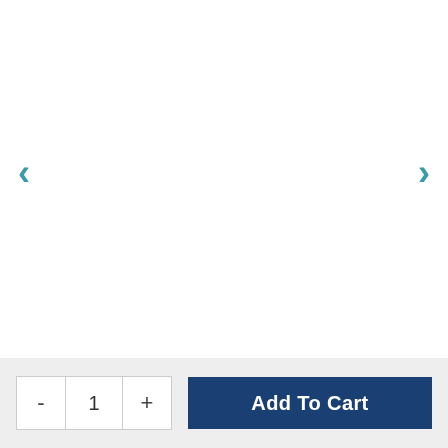[Figure (screenshot): Product image carousel area with left and right navigation arrows (teal color). The image area is blank/white.]
Originally $8,621.00, you save 5%
Our Price $8,189.95
- 1 +
Add To Cart